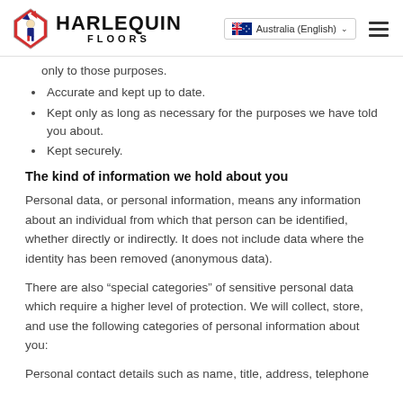HARLEQUIN FLOORS | Australia (English)
only to those purposes.
Accurate and kept up to date.
Kept only as long as necessary for the purposes we have told you about.
Kept securely.
The kind of information we hold about you
Personal data, or personal information, means any information about an individual from which that person can be identified, whether directly or indirectly. It does not include data where the identity has been removed (anonymous data).
There are also “special categories” of sensitive personal data which require a higher level of protection. We will collect, store, and use the following categories of personal information about you:
Personal contact details such as name, title, address, telephone...